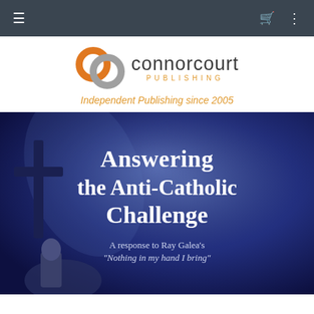Navigation bar with menu, cart, and more icons
[Figure (logo): Connor Court Publishing logo with two interlocking rings (orange and grey) and the text 'connorcourt' with 'PUBLISHING' below]
Independent Publishing since 2005
[Figure (photo): Book cover of 'Answering the Anti-Catholic Challenge: A response to Ray Galea's "Nothing in my hand I bring"' with a dark blue background featuring a cross and stone angel figure]